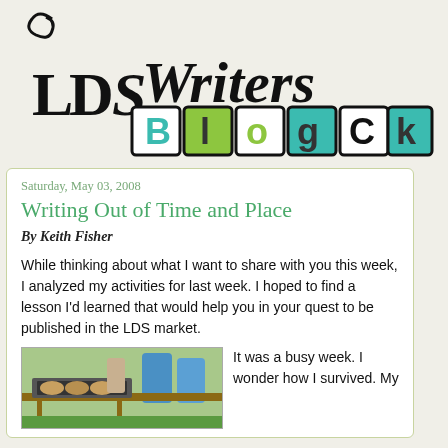[Figure (logo): LDS Writers Blogck logo — decorative script text 'LDS Writers' above blocky tiled letters B, l, o, g, C, k with teal and green colored tiles]
Saturday, May 03, 2008
Writing Out of Time and Place
By Keith Fisher
While thinking about what I want to share with you this week, I analyzed my activities for last week. I hoped to find a lesson I'd learned that would help you in your quest to be published in the LDS market.
[Figure (photo): Outdoor photo showing what appears to be a grill or cooking equipment on a table with grass and blue barrels in background]
It was a busy week. I wonder how I survived. My